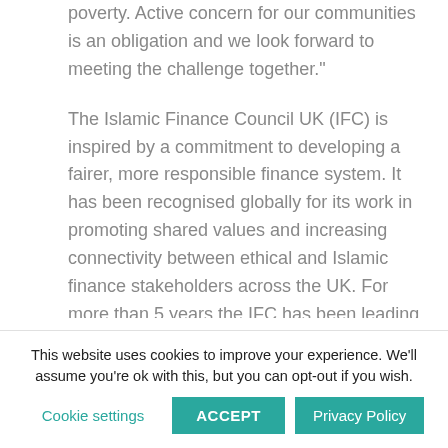poverty. Active concern for our communities is an obligation and we look forward to meeting the challenge together.”

The Islamic Finance Council UK (IFC) is inspired by a commitment to developing a fairer, more responsible finance system. It has been recognised globally for its work in promoting shared values and increasing connectivity between ethical and Islamic finance stakeholders across the UK. For more than 5 years the IFC has been leading the debate on ethical finance through a series of events based in Edinburgh.
This website uses cookies to improve your experience. We’ll assume you’re ok with this, but you can opt-out if you wish.
Cookie settings    ACCEPT    Privacy Policy